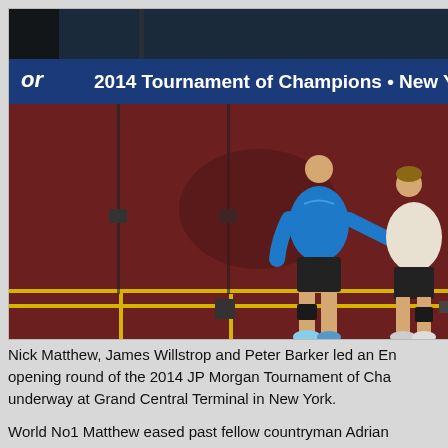[Figure (photo): Two squash players on court at the 2014 Tournament of Champions in New York. A banner reads '2014 Tournament of Champions • New York'. One player wears a blue shirt and dark shorts, the other wears light-colored clothing. The court has a dark red floor with yellow lines and glass walls.]
Nick Matthew, James Willstrop and Peter Barker led an En opening round of the 2014 JP Morgan Tournament of Cha underway at Grand Central Terminal in New York.
World No1 Matthew eased past fellow countryman Adrian